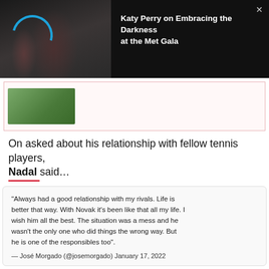[Figure (screenshot): Video player banner with dark background showing women at what appears to be the Met Gala, with a loading spinner icon. Title reads 'Katy Perry on Embracing the Darkness at the Met Gala']
[Figure (photo): Small blurred advertisement thumbnail with greenish/blurred background]
On asked about his relationship with fellow tennis players, Nadal said…
"Always had a good relationship with my rivals. Life is better that way. With Novak it's been like that all my life. I wish him all the best. The situation was a mess and he wasn't the only one who did things the wrong way. But he is one of the responsibles too". — José Morgado (@josemorgado) January 17, 2022
ADVERTISEMENT